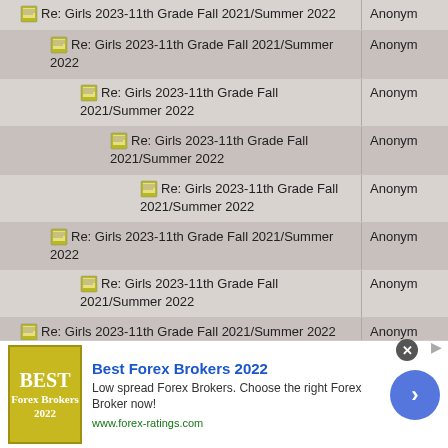| Topic | Author |
| --- | --- |
| Re: Girls 2023-11th Grade Fall 2021/Summer 2022 | Anonym |
| Re: Girls 2023-11th Grade Fall 2021/Summer 2022 | Anonym |
| Re: Girls 2023-11th Grade Fall 2021/Summer 2022 | Anonym |
| Re: Girls 2023-11th Grade Fall 2021/Summer 2022 | Anonym |
| Re: Girls 2023-11th Grade Fall 2021/Summer 2022 | Anonym |
| Re: Girls 2023-11th Grade Fall 2021/Summer 2022 | Anonym |
| Re: Girls 2023-11th Grade Fall 2021/Summer 2022 | Anonym |
| Re: Girls 2023-11th Grade Fall 2021/Summer 2022 | Anonym |
[Figure (infographic): Advertisement banner for Best Forex Brokers 2022 with logo, description text and arrow button]